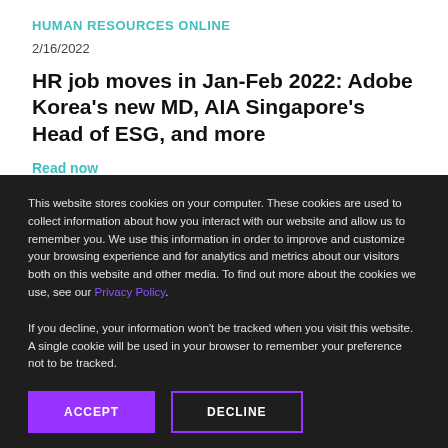HUMAN RESOURCES ONLINE
2/16/2022
HR job moves in Jan-Feb 2022: Adobe Korea's new MD, AIA Singapore's Head of ESG, and more
Read now
DIGITAL
2/16/20...
OneScreen.ai is building a free direct advertising providers
Read now
This website stores cookies on your computer. These cookies are used to collect information about how you interact with our website and allow us to remember you. We use this information in order to improve and customize your browsing experience and for analytics and metrics about our visitors both on this website and other media. To find out more about the cookies we use, see our Privacy Policy.

If you decline, your information won't be tracked when you visit this website. A single cookie will be used in your browser to remember your preference not to be tracked.
ACCEPT
DECLINE